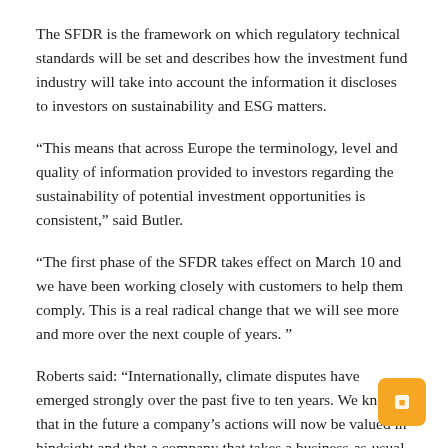The SFDR is the framework on which regulatory technical standards will be set and describes how the investment fund industry will take into account the information it discloses to investors on sustainability and ESG matters.
“This means that across Europe the terminology, level and quality of information provided to investors regarding the sustainability of potential investment opportunities is consistent,” said Butler.
“The first phase of the SFDR takes effect on March 10 and we have been working closely with customers to help them comply. This is a real radical change that we will see more and more over the next couple of years. ”
Roberts said: “Internationally, climate disputes have emerged strongly over the past five to ten years. We know that in the future a company’s actions will now be valued in hindsight and that a company that takes a business-as-usual approach will be seen as having underestimated the risks and what is needed to cope. to climate risk. ”